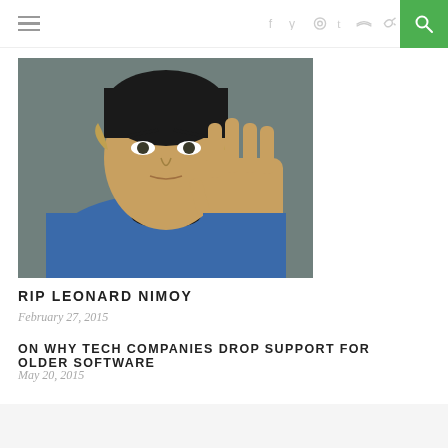≡  f  y  ⊕  t  ☁  ⊃  🔍
[Figure (photo): Photo of Leonard Nimoy as Mr. Spock in blue Star Trek uniform, raising his hand in the Vulcan salute]
RIP LEONARD NIMOY
February 27, 2015
ON WHY TECH COMPANIES DROP SUPPORT FOR OLDER SOFTWARE
May 20, 2015